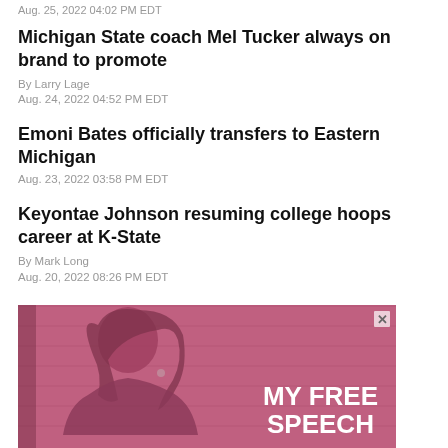Aug. 25, 2022 04:02 PM EDT
Michigan State coach Mel Tucker always on brand to promote
By Larry Lage
Aug. 24, 2022 04:52 PM EDT
Emoni Bates officially transfers to Eastern Michigan
Aug. 23, 2022 03:58 PM EDT
Keyontae Johnson resuming college hoops career at K-State
By Mark Long
Aug. 20, 2022 08:26 PM EDT
[Figure (photo): Advertisement banner showing a woman with blonde hair against a pink/red background with text reading MY FREE SPEECH]